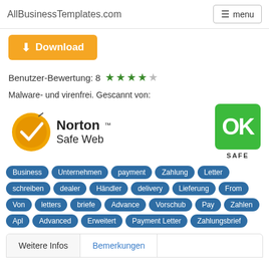AllBusinessTemplates.com   menu
[Figure (other): Orange download button with download icon and text 'Download']
Benutzer-Bewertung: 8 ★★★★☆
Malware- und virenfrei. Gescannt von:
[Figure (logo): Norton Safe Web logo with checkmark and gold circle, plus green OK SAFE badge]
Business
Unternehmen
payment
Zahlung
Letter
schreiben
dealer
Händler
delivery
Lieferung
From
Von
letters
briefe
Advance
Vorschub
Pay
Zahlen
Apl
Advanced
Erweitert
Payment Letter
Zahlungsbrief
Weitere Infos   Bemerkungen